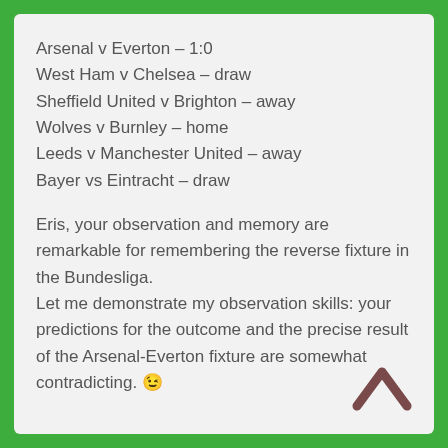Arsenal v Everton – 1:0
West Ham v Chelsea – draw
Sheffield United v Brighton – away
Wolves v Burnley – home
Leeds v Manchester United – away
Bayer vs Eintracht – draw
Eris, your observation and memory are remarkable for remembering the reverse fixture in the Bundesliga. Let me demonstrate my observation skills: your predictions for the outcome and the precise result of the Arsenal-Everton fixture are somewhat contradicting. 😉